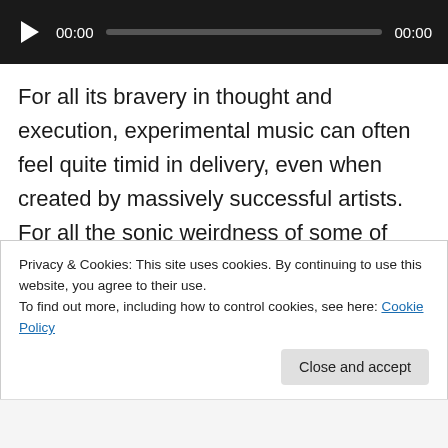[Figure (other): Audio player bar with play button, timestamp 00:00, progress bar, and end time 00:00]
For all its bravery in thought and execution, experimental music can often feel quite timid in delivery, even when created by massively successful artists. For all the sonic weirdness of some of Radiohead’s more oblique output this decade, for example, there was always a slightly apologetic reference to Modern Composer x or Rare Instrument y, as if an existing context was required to excuse the diversion. But then, occasionally, a track appears in the playground that wears its weirdness as
Privacy & Cookies: This site uses cookies. By continuing to use this website, you agree to their use.
To find out more, including how to control cookies, see here: Cookie Policy
Close and accept